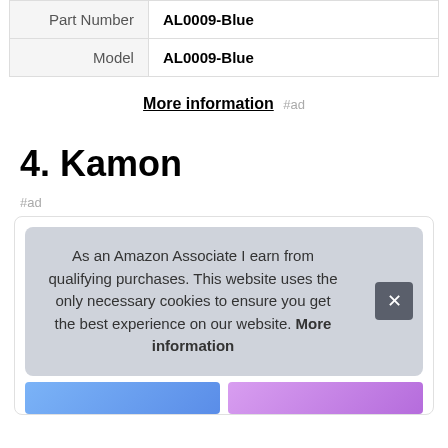| Part Number | AL0009-Blue |
| Model | AL0009-Blue |
More information #ad
4. Kamon
#ad
As an Amazon Associate I earn from qualifying purchases. This website uses the only necessary cookies to ensure you get the best experience on our website. More information